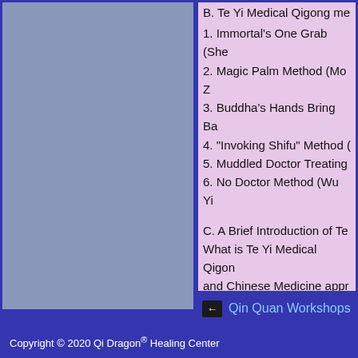B. Te Yi Medical Qigong me
1. Immortal’s One Grab (She
2. Magic Palm Method (Mo Z
3. Buddha’s Hands Bring Ba
4. “Invoking Shifu” Method (
5. Muddled Doctor Treating
6. No Doctor Method (Wu Yi
C. A Brief Introduction of Te
What is Te Yi Medical Qigon and Chinese Medicine appr
D. Review and Practice of L
← Qin Quan Workshops
Copyright © 2020 Qi Dragon® Healing Center